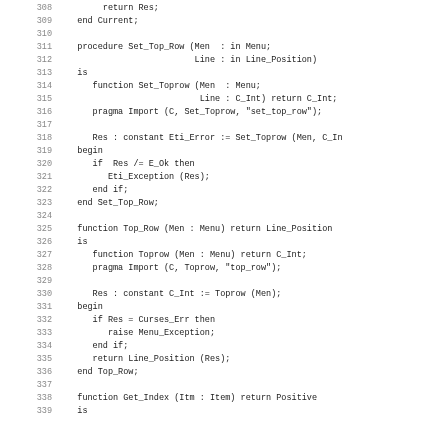Ada source code listing, lines 308-339, showing Set_Top_Row procedure, Top_Row function, and beginning of Get_Index function